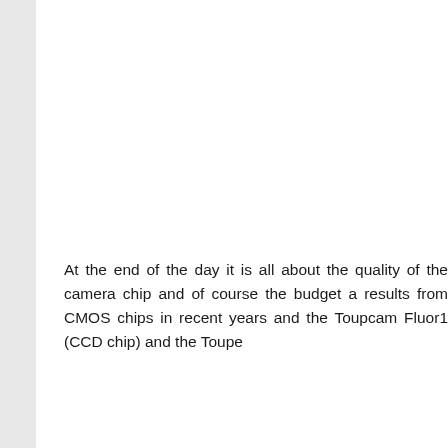At the end of the day it is all about the quality of the camera chip and of course the budget and results from CMOS chips in recent years and the Toupcam Fluor1 (CCD chip) and the Toupc...